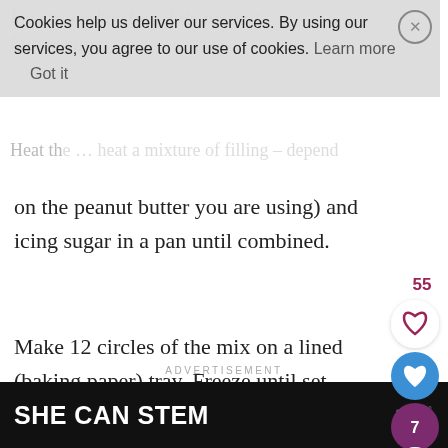how to make chocolate peanut butter cups
Cookies help us deliver our services. By using our services, you agree to our use of cookies. Learn more Got it
on the peanut butter you are using) and icing sugar in a pan until combined.
Make 12 circles of the mix on a lined (baking paper) tray. Freeze until set.
Melt the chocolate.
ADVERTISEMENT
SHE CAN STEM